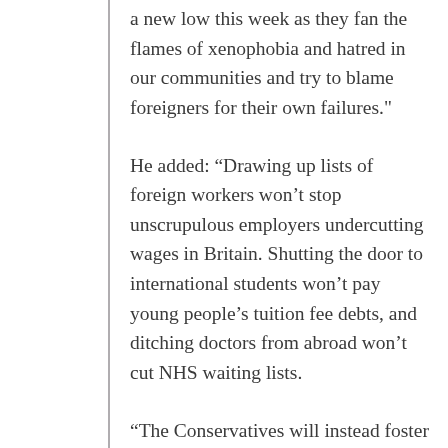a new low this week as they fan the flames of xenophobia and hatred in our communities and try to blame foreigners for their own failures."
He added: “Drawing up lists of foreign workers won’t stop unscrupulous employers undercutting wages in Britain. Shutting the door to international students won’t pay young people’s tuition fee debts, and ditching doctors from abroad won’t cut NHS waiting lists.
“The Conservatives will instead foster division and discrimination in our